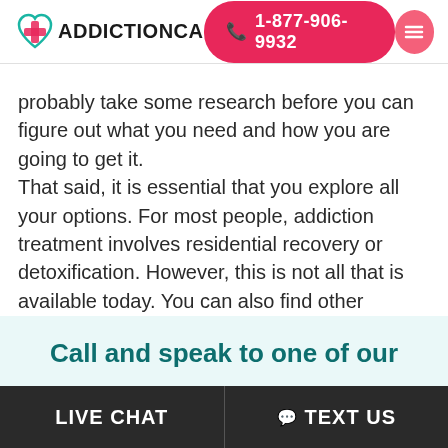[Figure (logo): AddictionCA logo with teal heart and pink cross icon, text ADDICTIONCA]
probably take some research before you can figure out what you need and how you are going to get it. That said, it is essential that you explore all your options. For most people, addiction treatment involves residential recovery or detoxification. However, this is not all that is available today. You can also find other settings of treatment, including outpatient drug rehab as well as other forms of recovery that are more intense than the rest.
Call and speak to one of our
LIVE CHAT   TEXT US